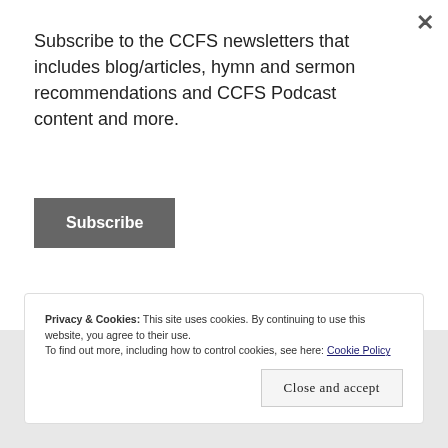Subscribe to the CCFS newsletters that includes blog/articles, hymn and sermon recommendations and CCFS Podcast content and more.
Subscribe
[Figure (screenshot): Partial view of a social media card with a nature photo (wild grasses/flowers with bokeh background) and interaction icons (comment and heart/like icons) below it.]
Privacy & Cookies: This site uses cookies. By continuing to use this website, you agree to their use.
To find out more, including how to control cookies, see here: Cookie Policy
Close and accept